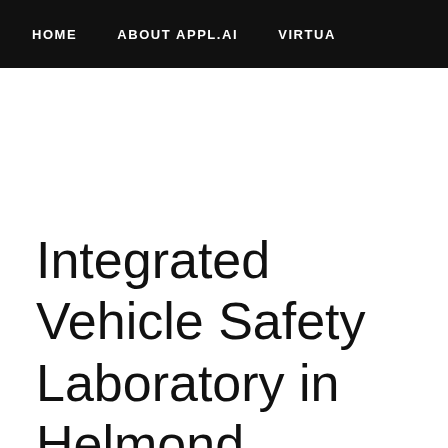HOME   ABOUT APPL.AI   VIRTUAL
Integrated Vehicle Safety Laboratory in Helmond